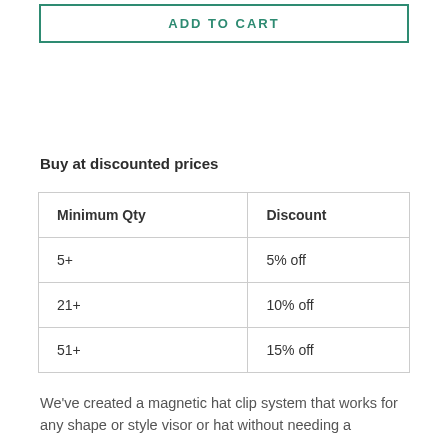ADD TO CART
Buy at discounted prices
| Minimum Qty | Discount |
| --- | --- |
| 5+ | 5% off |
| 21+ | 10% off |
| 51+ | 15% off |
We've created a magnetic hat clip system that works for any shape or style visor or hat without needing a